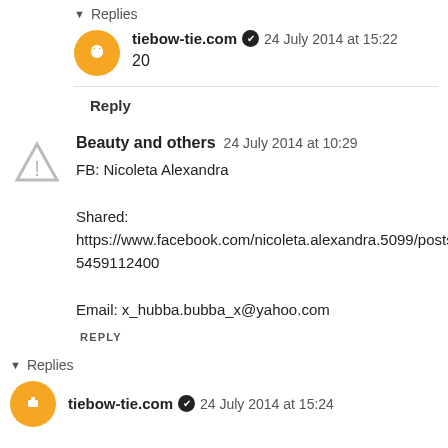▾ Replies
tiebow-tie.com ✔ 24 July 2014 at 15:22
20
Reply
Beauty and others  24 July 2014 at 10:29
FB: Nicoleta Alexandra

Shared:
https://www.facebook.com/nicoleta.alexandra.5099/posts/1444985459112400

Email: x_hubba.bubba_x@yahoo.com
REPLY
▾ Replies
tiebow-tie.com ✔ 24 July 2014 at 15:24